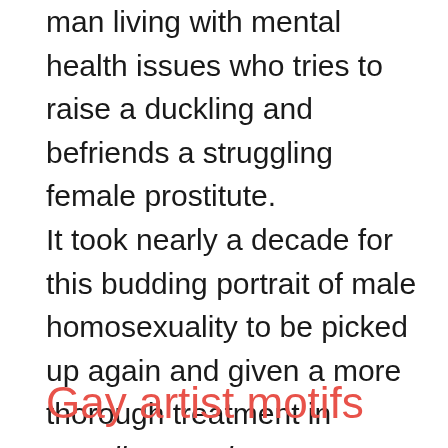man living with mental health issues who tries to raise a duckling and befriends a struggling female prostitute.
It took nearly a decade for this budding portrait of male homosexuality to be picked up again and given a more thorough treatment in Goodbye Mother.
Gay artist motifs